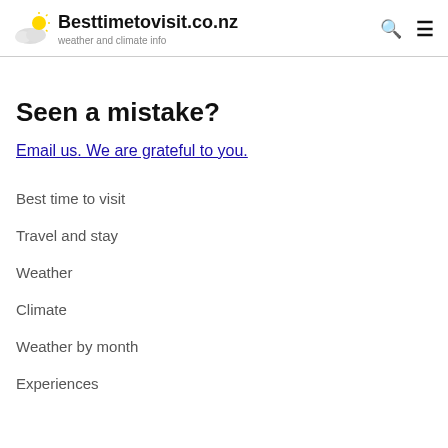Besttimetovisit.co.nz — weather and climate info
Seen a mistake?
Email us. We are grateful to you.
Best time to visit
Travel and stay
Weather
Climate
Weather by month
Experiences